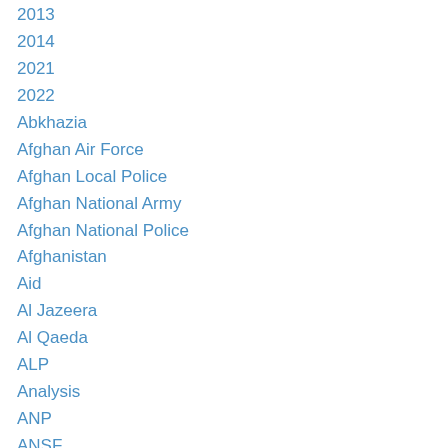2013
2014
2021
2022
Abkhazia
Afghan Air Force
Afghan Local Police
Afghan National Army
Afghan National Police
Afghanistan
Aid
Al Jazeera
Al Qaeda
ALP
Analysis
ANP
ANSF
Ashraf Ghani
asylum
Azerbaijan